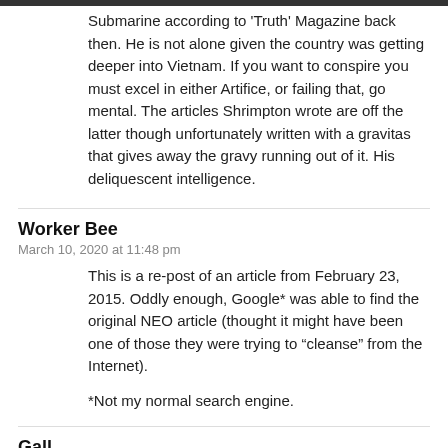Submarine according to 'Truth' Magazine back then. He is not alone given the country was getting deeper into Vietnam. If you want to conspire you must excel in either Artifice, or failing that, go mental. The articles Shrimpton wrote are off the latter though unfortunately written with a gravitas that gives away the gravy running out of it. His deliquescent intelligence.
Worker Bee
March 10, 2020 at 11:48 pm
This is a re-post of an article from February 23, 2015. Oddly enough, Google* was able to find the original NEO article (thought it might have been one of those they were trying to “cleanse” from the Internet).

*Not my normal search engine.
Gall
March 10, 2020 at 5:03 pm
Something that Shrimpton and other researchers miss